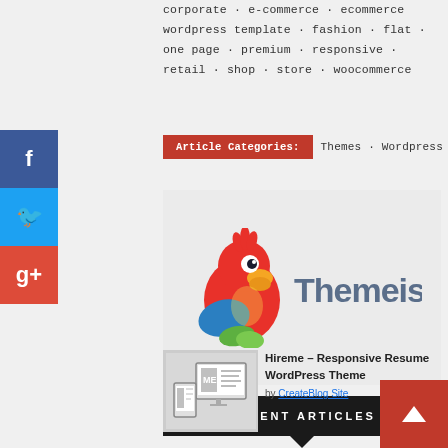corporate · e-commerce · ecommerce wordpress template · fashion · flat · one page · premium · responsive · retail · shop · store · woocommerce
Article Categories: Themes · Wordpress
[Figure (logo): ThemeIsle logo with red parrot mascot and 'Themeisle' text in blue-grey]
RECENT ARTICLES
[Figure (screenshot): Thumbnail of HireMe resume WordPress theme showing a 'ME' resume page on desktop and mobile]
Hireme – Responsive Resume WordPress Theme
by CreateBlog Site